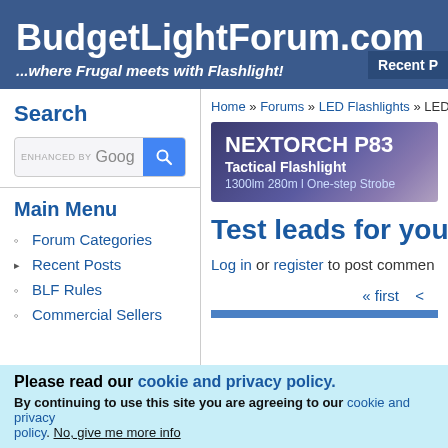BudgetLightForum.com ...where Frugal meets with Flashlight!
Search
[Figure (screenshot): Google custom search bar with blue search button]
Main Menu
Forum Categories
Recent Posts
BLF Rules
Commercial Sellers
Home » Forums » LED Flashlights » LED F
[Figure (illustration): NEXTORCH P83 Tactical Flashlight advertisement banner. 1300lm 280m I One-step Strobe]
Test leads for your
Log in or register to post commen
« first <
Please read our cookie and privacy policy.
By continuing to use this site you are agreeing to our cookie and privacy policy. No, give me more info